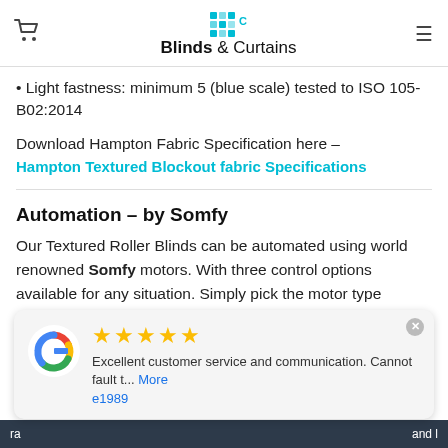Blinds & Curtains
Light fastness: minimum 5 (blue scale) tested to ISO 105-B02:2014
Download Hampton Fabric Specification here – Hampton Textured Blockout fabric Specifications
Automation – by Somfy
Our Textured Roller Blinds can be automated using world renowned Somfy motors. With three control options available for any situation. Simply pick the motor type required (ie Switch Control Motor). Download Motor Specifications and wiring diagram
[Figure (other): Google review popup with 5 gold stars, Google logo, review text: 'Excellent customer service and communication. Cannot fault t... More' by e1989]